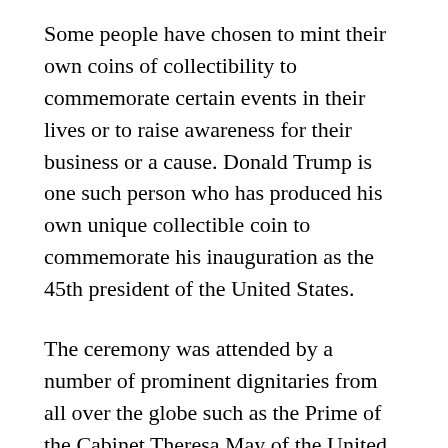Some people have chosen to mint their own coins of collectibility to commemorate certain events in their lives or to raise awareness for their business or a cause. Donald Trump is one such person who has produced his own unique collectible coin to commemorate his inauguration as the 45th president of the United States.
The ceremony was attended by a number of prominent dignitaries from all over the globe such as the Prime of the Cabinet Theresa May of the United Kingdom, Premier Benjamin Netanyahu of Israel, and the Prime of the Cabinet Justin Trudeau of Canada.